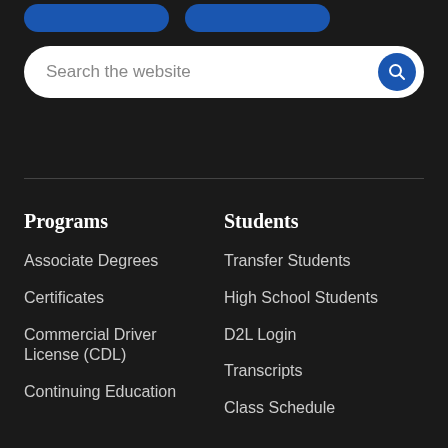[Figure (screenshot): Two blue rounded button elements at top of page]
[Figure (screenshot): Search bar with placeholder text 'Search the website' and blue circular search icon button on right]
Programs
Associate Degrees
Certificates
Commercial Driver License (CDL)
Continuing Education
Students
Transfer Students
High School Students
D2L Login
Transcripts
Class Schedule